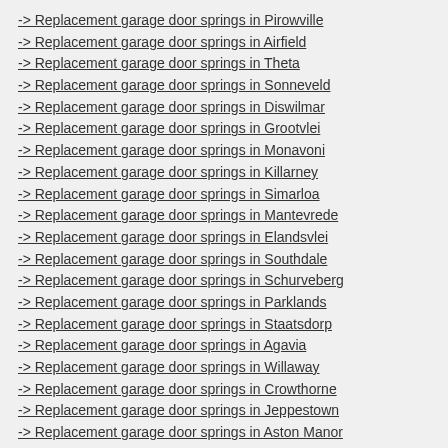-> Replacement garage door springs in Pirowville
-> Replacement garage door springs in Airfield
-> Replacement garage door springs in Theta
-> Replacement garage door springs in Sonneveld
-> Replacement garage door springs in Diswilmar
-> Replacement garage door springs in Grootvlei
-> Replacement garage door springs in Monavoni
-> Replacement garage door springs in Killarney
-> Replacement garage door springs in Simarloa
-> Replacement garage door springs in Mantevrede
-> Replacement garage door springs in Elandsvlei
-> Replacement garage door springs in Southdale
-> Replacement garage door springs in Schurveberg
-> Replacement garage door springs in Parklands
-> Replacement garage door springs in Staatsdorp
-> Replacement garage door springs in Agavia
-> Replacement garage door springs in Willaway
-> Replacement garage door springs in Crowthorne
-> Replacement garage door springs in Jeppestown
-> Replacement garage door springs in Aston Manor
-> Replacement garage door springs in Staatsdorp
-> Replacement garage door springs in Alrapark
-> Replacement garage door springs in Patterson Park
-> Replacement garage door springs in Cedar Creek